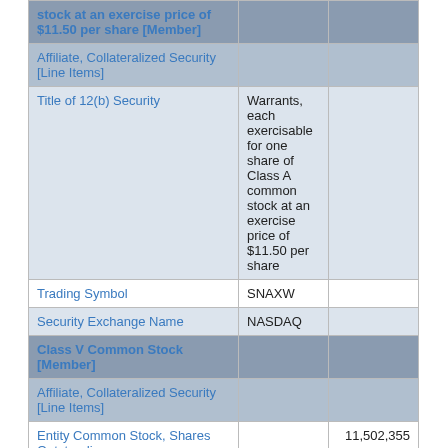|  |  |  |
| --- | --- | --- |
| stock at an exercise price of $11.50 per share [Member] |  |  |
| Affiliate, Collateralized Security [Line Items] |  |  |
| Title of 12(b) Security | Warrants, each exercisable for one share of Class A common stock at an exercise price of $11.50 per share |  |
| Trading Symbol | SNAXW |  |
| Security Exchange Name | NASDAQ |  |
| Class V Common Stock [Member] |  |  |
| Affiliate, Collateralized Security [Line Items] |  |  |
| Entity Common Stock, Shares Outstanding |  | 11,502,355 |